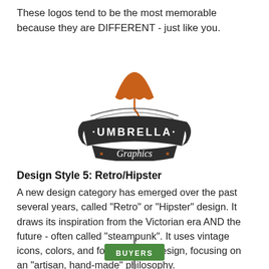These logos tend to be the most memorable because they are DIFFERENT - just like you.
[Figure (logo): Umbrella Graphics logo: retro/vintage style dark banner with orange umbrella on top, text 'UMBRELLA Graphics' with stars]
Design Style 5: Retro/Hipster
A new design category has emerged over the past several years, called "Retro" or "Hipster" design. It draws its inspiration from the Victorian era AND the future - often called "steampunk". It uses vintage icons, colors, and fonts in each design, focusing on an "artisan, hand-made" philosophy.
[Figure (logo): Buyers street sign logo, partially visible at bottom of page]